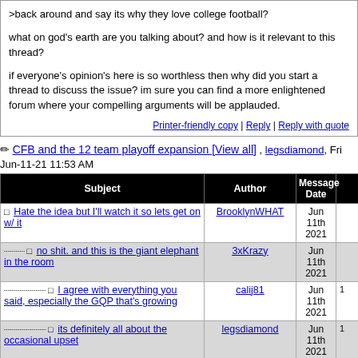>back around and say its why they love college football?
what on god's earth are you talking about? and how is it relevant to this thread?
if everyone's opinion's here is so worthless then why did you start a thread to discuss the issue? im sure you can find a more enlightened forum where your compelling arguments will be applauded.
Printer-friendly copy | Reply | Reply with quote
CFB and the 12 team playoff expansion [View all] , legsdiamond, Fri Jun-11-21 11:53 AM
| Subject | Author | Message Date |
| --- | --- | --- |
| Hate the idea but I'll watch it so lets get on w/ it | BrooklynWHAT | Jun 11th 2021 |
| no shit. and this is the giant elephant in the room | 3xKrazy | Jun 11th 2021 |
| I agree with everything you said, especially the GQP that's growing | calij81 | Jun 11th 2021 |
| its definitely all about the occasional upset | legsdiamond | Jun 11th 2021 |
| I hate it. Bring back the BCS | guru0509 | Jun 11th |